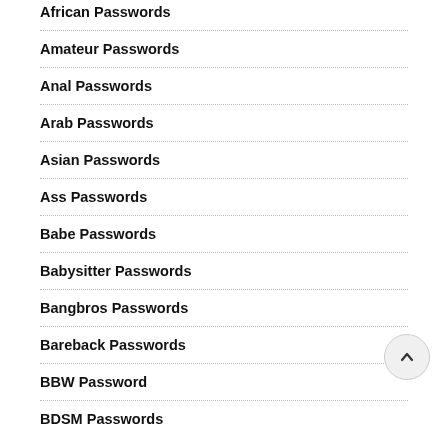African Passwords
Amateur Passwords
Anal Passwords
Arab Passwords
Asian Passwords
Ass Passwords
Babe Passwords
Babysitter Passwords
Bangbros Passwords
Bareback Passwords
BBW Password
BDSM Passwords